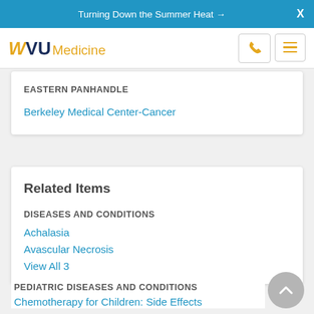Turning Down the Summer Heat →  X
[Figure (logo): WVU Medicine logo with phone and menu icons]
EASTERN PANHANDLE
Berkeley Medical Center-Cancer
Related Items
DISEASES AND CONDITIONS
Achalasia
Avascular Necrosis
View All 3
PEDIATRIC DISEASES AND CONDITIONS
Chemotherapy for Children: Side Effects